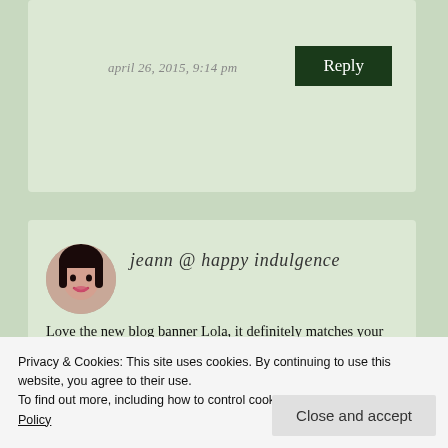april 26, 2015, 9:14 pm
Reply
jeann @ happy indulgence
Love the new blog banner Lola, it definitely matches your blog really well! Glad to hear that you guys are really enjoying Clone Wars, in preparation for the upcoming movie. I'm not really the right audience for the blog tour thing, so I tend to skip past that section. Anyway it's a good idea to include them
Privacy & Cookies: This site uses cookies. By continuing to use this website, you agree to their use.
To find out more, including how to control cookies, see here: Privacy Policy
Close and accept